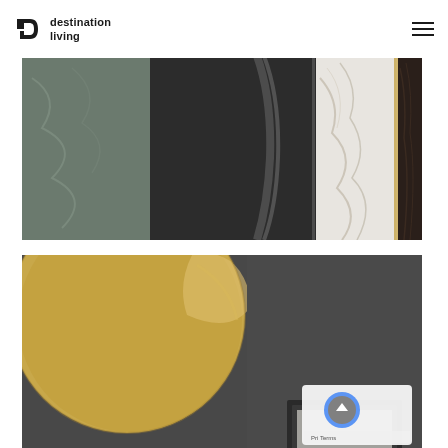destination living
[Figure (photo): Close-up of material samples/swatches including dark glass, marble, and wood panels against a light background with a white cylindrical lamp partially visible at top]
[Figure (photo): Close-up of a gold/brass circular decorative disc mounted on a dark gray textured wall, with a framed picture partially visible at the bottom right]